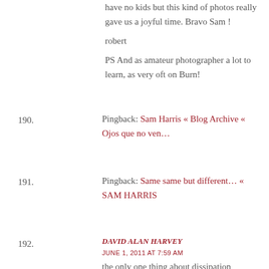have no kids but this kind of photos really gave us a joyful time. Bravo Sam !

robert

PS And as amateur photographer a lot to learn, as very oft on Burn!
190. Pingback: Sam Harris « Blog Archive « Ojos que no ven…
191. Pingback: Same same but different… « SAM HARRIS
192. DAVID ALAN HARVEY
JUNE 1, 2011 AT 7:59 AM
the only one thing about dissipation opinion...